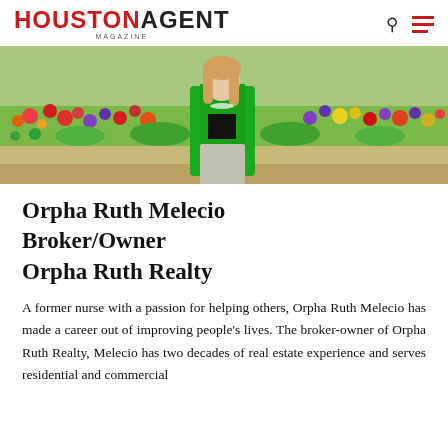HOUSTON AGENT MAGAZINE
[Figure (photo): Woman in green blazer sitting in front of colorful flower garden]
Orpha Ruth Melecio
Broker/Owner
Orpha Ruth Realty
A former nurse with a passion for helping others, Orpha Ruth Melecio has made a career out of improving people's lives. The broker-owner of Orpha Ruth Realty, Melecio has two decades of real estate experience and serves residential and commercial